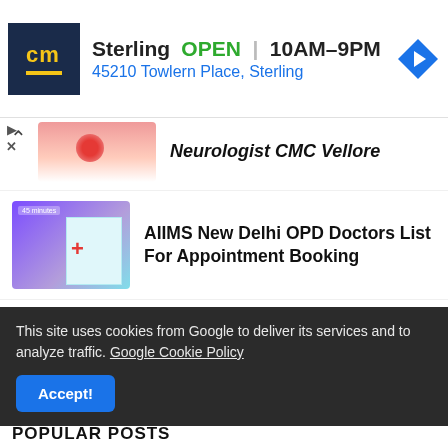[Figure (screenshot): Advertisement banner: cm logo (yellow on dark blue), Sterling OPEN 10AM-9PM, 45210 Towlern Place Sterling, blue navigation arrow icon]
[Figure (photo): Partial article thumbnail showing neurologist/person with red area on body]
Neurologist CMC Vellore
[Figure (illustration): Purple background with 3D hospital building illustration, red cross symbol]
AIIMS New Delhi OPD Doctors List For Appointment Booking
[Figure (illustration): Purple background with 3D hospital building illustration]
The BM Birla Heart Research
This site uses cookies from Google to deliver its services and to analyze traffic. Google Cookie Policy
Accept!
POPULAR POSTS